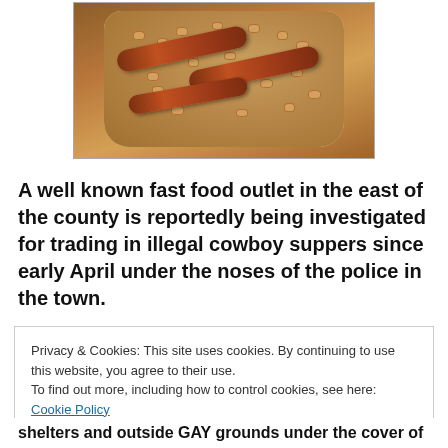[Figure (photo): A tray of baked beans with sausages, viewed from above on a light background]
A well known fast food outlet in the east of the county is reportedly being investigated for trading in illegal cowboy suppers since early April under the noses of the police in the town.
Privacy & Cookies: This site uses cookies. By continuing to use this website, you agree to their use.
To find out more, including how to control cookies, see here: Cookie Policy
Close and accept
shelters and outside GAY grounds under the cover of